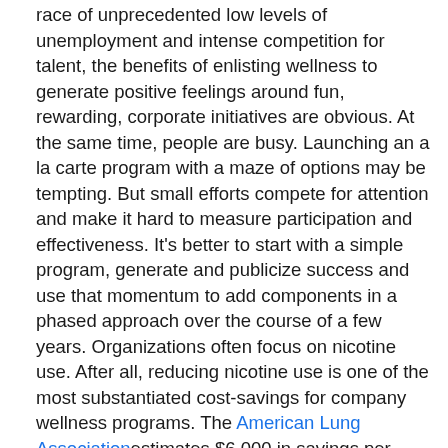race of unprecedented low levels of unemployment and intense competition for talent, the benefits of enlisting wellness to generate positive feelings around fun, rewarding, corporate initiatives are obvious. At the same time, people are busy. Launching an a la carte program with a maze of options may be tempting. But small efforts compete for attention and make it hard to measure participation and effectiveness. It's better to start with a simple program, generate and publicize success and use that momentum to add components in a phased approach over the course of a few years. Organizations often focus on nicotine use. After all, reducing nicotine use is one of the most substantiated cost-savings for company wellness programs. The American Lung Associationestimates $6,000 in savings per year for each employee smoker who is able to quit. However, nicotine efforts can often feel over-targeted and are invariably perceived as punishments. Rather than aggressively promoting smoking cessation, explore how quitting can lead to a longer improved quality of life.